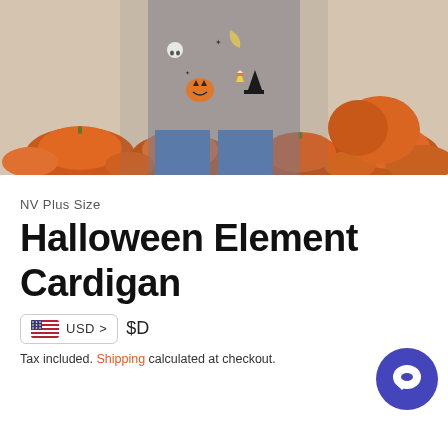[Figure (photo): Woman wearing a grey Halloween-themed cardigan with pumpkins, skulls, moons, and other Halloween motifs, standing in front of a pumpkin patch]
NV Plus Size
Halloween Element Cardigan
USD > $D
Tax included. Shipping calculated at checkout.